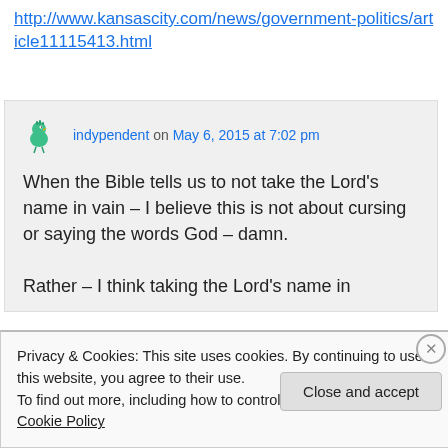http://www.kansascity.com/news/government-politics/article11115413.html
indypendent on May 6, 2015 at 7:02 pm
When the Bible tells us to not take the Lord's name in vain – I believe this is not about cursing or saying the words God – damn.

Rather – I think taking the Lord's name in
Privacy & Cookies: This site uses cookies. By continuing to use this website, you agree to their use.
To find out more, including how to control cookies, see here: Cookie Policy
Close and accept